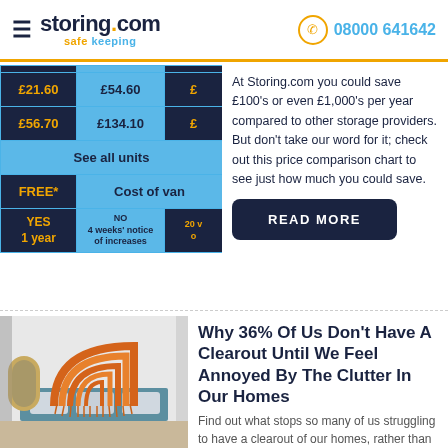storing.com — safe keeping — 08000 641642
|  |  |  |
| --- | --- | --- |
| £21.60 | £54.60 | £ |
| £56.70 | £134.10 | £ |
| See all units |  |  |
| FREE* | Cost of van |  |
| YES
1 year | NO
4 weeks' notice
of increases | 20 v
o |
At Storing.com you could save £100's or even £1,000's per year compared to other storage providers. But don't take our word for it; check out this price comparison chart to see just how much you could save.
READ MORE
[Figure (photo): Interior bedroom photo showing a decorative orange macramé rainbow wall hanging above a bed with pillows, and a golden arch mirror on the left]
Why 36% Of Us Don't Have A Clearout Until We Feel Annoyed By The Clutter In Our Homes
Find out what stops so many of us struggling to have a clearout of our homes, rather than decluttering to